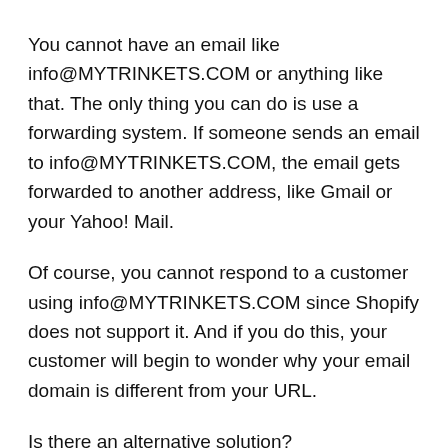You cannot have an email like info@MYTRINKETS.COM or anything like that. The only thing you can do is use a forwarding system. If someone sends an email to info@MYTRINKETS.COM, the email gets forwarded to another address, like Gmail or your Yahoo! Mail.
Of course, you cannot respond to a customer using info@MYTRINKETS.COM since Shopify does not support it. And if you do this, your customer will begin to wonder why your email domain is different from your URL.
Is there an alternative solution?